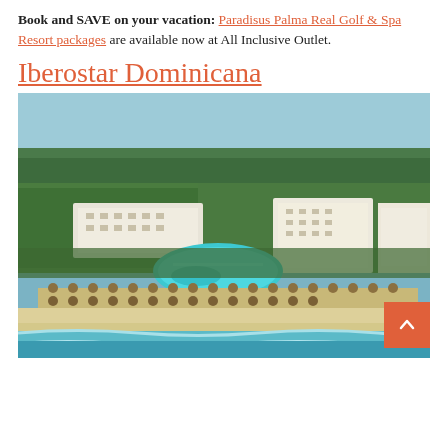Book and SAVE on your vacation: Paradisus Palma Real Golf & Spa Resort packages are available now at All Inclusive Outlet.
Iberostar Dominicana
[Figure (photo): Aerial view of Iberostar Dominicana resort showing hotel buildings, swimming pools, beach chairs along the sandy beach, turquoise Caribbean ocean waters, and surrounding tropical forest.]